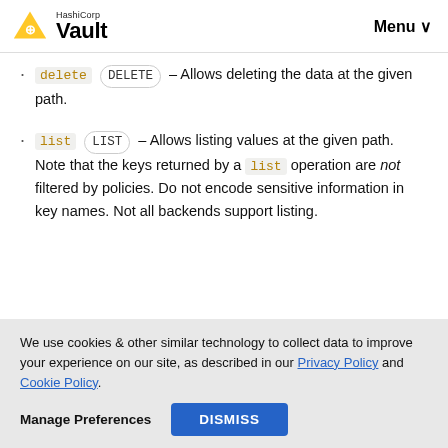HashiCorp Vault — Menu
delete ( DELETE ) – Allows deleting the data at the given path.
list ( LIST ) – Allows listing values at the given path. Note that the keys returned by a list operation are not filtered by policies. Do not encode sensitive information in key names. Not all backends support listing.
We use cookies & other similar technology to collect data to improve your experience on our site, as described in our Privacy Policy and Cookie Policy.
Manage Preferences    DISMISS